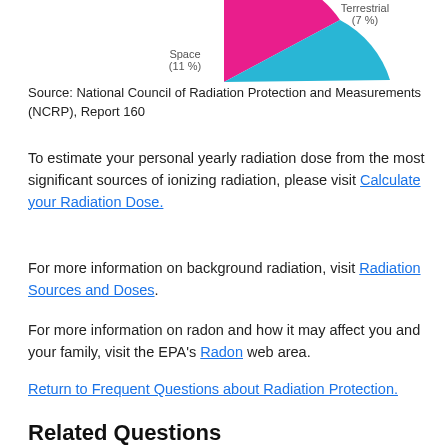[Figure (pie-chart): Partial view of a pie chart showing Space (11%) in pink and Terrestrial (7%) in blue, cropped at top of page]
Source: National Council of Radiation Protection and Measurements (NCRP), Report 160
To estimate your personal yearly radiation dose from the most significant sources of ionizing radiation, please visit Calculate your Radiation Dose.
For more information on background radiation, visit Radiation Sources and Doses.
For more information on radon and how it may affect you and your family, visit the EPA's Radon web area.
Return to Frequent Questions about Radiation Protection.
Related Questions